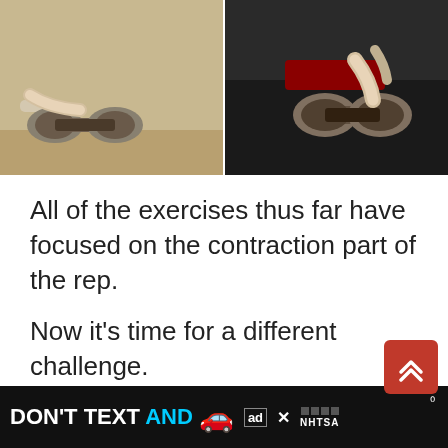[Figure (photo): Two-panel photo strip showing a person performing a lying dumbbell curl exercise. Left panel shows the dumbbell being lowered toward the floor; right panel shows the dumbbell being held up closer to the body. Wooden floor visible in left panel, dark gym bench in right panel.]
All of the exercises thus far have focused on the contraction part of the rep.
Now it's time for a different challenge.
The lying dumbbell curl produces the strongest eccentric muscle stretch of
[Figure (photo): Advertisement banner: DON'T TEXT AND [car emoji] with ad badge and NHTSA logo on black background.]